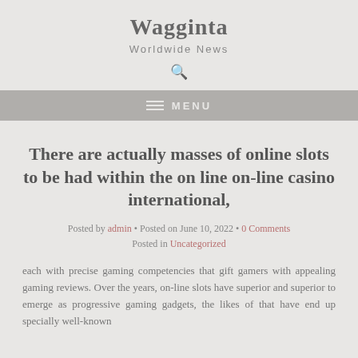Wagginta
Worldwide News
There are actually masses of online slots to be had within the on line on-line casino international,
Posted by admin • Posted on June 10, 2022 • 0 Comments Posted in Uncategorized
each with precise gaming competencies that gift gamers with appealing gaming reviews. Over the years, on-line slots have superior and superior to emerge as progressive gaming gadgets, the likes of that have end up specially well-known